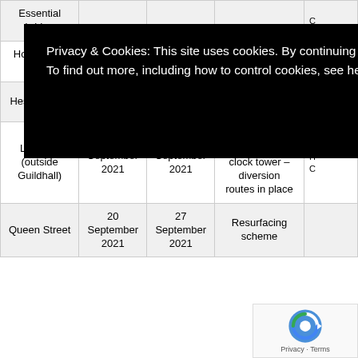| Location | Start date | End date | Reason for closure | Diversion |
| --- | --- | --- | --- | --- |
| Essential bridge |  |  |  |  |
| Holderness Road | September 2021 | September 2022 | Reconstruction of pavements | H C |
| Hessle Road | September 2021 | September 2022 | Reconstruction of pavements | H C |
| Lowgate (outside Guildhall) | September 2021 | September 2021 | Crane required to access the clock tower – diversion routes in place | H C |
| Queen Street | 20 September 2021 | 27 September 2021 | Resurfacing scheme |  |
Privacy & Cookies: This site uses cookies. By continuing to use this website, you agree to their use. To find out more, including how to control cookies, see here: Cookie information